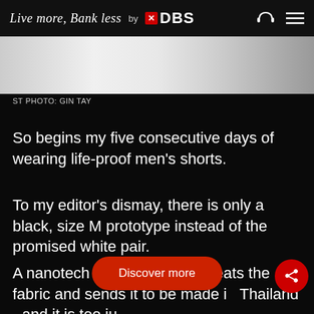Live more, Bank less by DBS
[Figure (photo): A cropped photo strip showing partial figures, light background, black and white tones]
ST PHOTO: GIN TAY
So begins my five consecutive days of wearing life-proof men's shorts.
To my editor's dismay, there is only a black, size M prototype instead of the promised white pair.
A nanotech factory in China treats the fabric and sends it to be made in Thailand - and it is too ju one for the sake of this story.